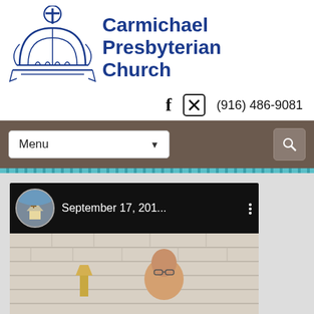[Figure (logo): Carmichael Presbyterian Church logo with church dome illustration and cross]
Carmichael Presbyterian Church
f  ✕  (916) 486-9081
[Figure (screenshot): Navigation bar with Menu dropdown and search icon on brown background]
[Figure (screenshot): Video embed showing September 17, 201... with circular church avatar, three-dot menu, and video content showing a man in front of white brick wall]